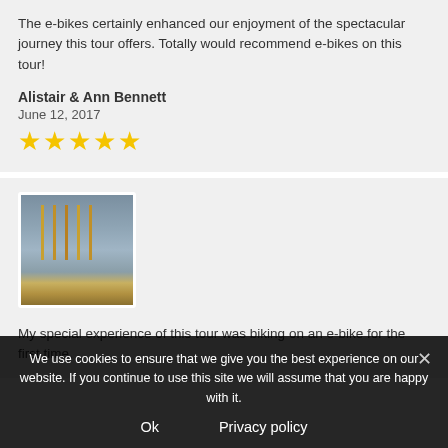The e-bikes certainly enhanced our enjoyment of the spectacular journey this tour offers. Totally would recommend e-bikes on this tour!
Alistair & Ann Bennett
June 12, 2017
[Figure (other): Five yellow star rating icons]
[Figure (photo): Small thumbnail photo showing poles or masts outdoors]
My special experience of this tour was biking on an e-bike for the first time.
We use cookies to ensure that we give you the best experience on our website. If you continue to use this site we will assume that you are happy with it.
Ok
Privacy policy